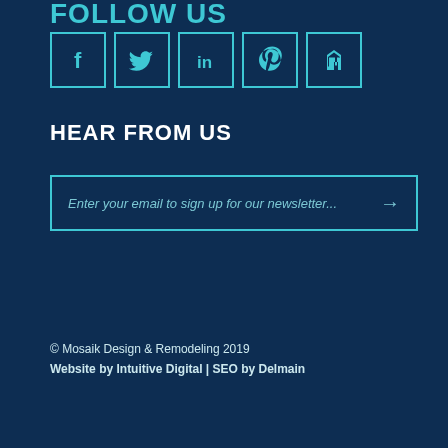FOLLOW US
[Figure (illustration): Five social media icon buttons in teal-bordered square boxes: Facebook (f), Twitter bird, LinkedIn (in), Pinterest (p), Houzz (h)]
HEAR FROM US
Enter your email to sign up for our newsletter...
© Mosaik Design & Remodeling 2019
Website by Intuitive Digital | SEO by Delmain